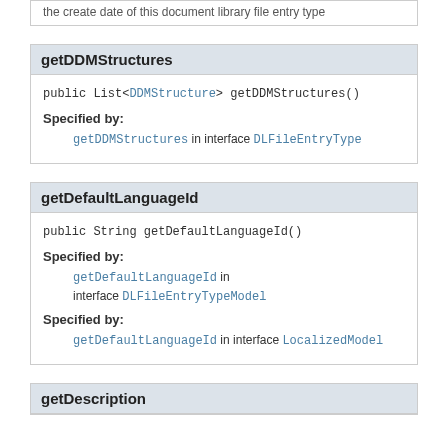the create date of this document library file entry type
getDDMStructures
public List<DDMStructure> getDDMStructures()
Specified by:
getDDMStructures in interface DLFileEntryType
getDefaultLanguageId
public String getDefaultLanguageId()
Specified by:
getDefaultLanguageId in interface DLFileEntryTypeModel
Specified by:
getDefaultLanguageId in interface LocalizedModel
getDescription